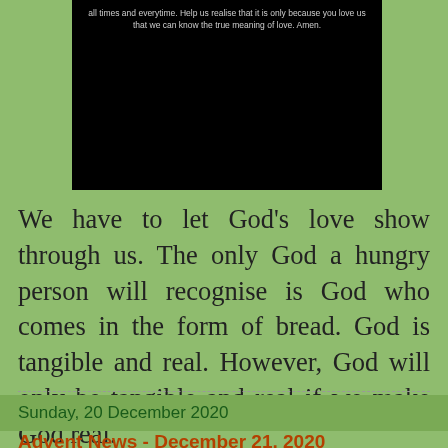[Figure (screenshot): Dark/black background box with white text showing a prayer: 'all times and everytime. Help us realise that it is only because you love us that we can know the true meaning of love. Amen.']
We have to let God's love show through us. The only God a hungry person will recognise is God who comes in the form of bread. God is tangible and real. However, God will only be tangible and real if we make God real.
Fr. Errol Fernandes SJ at 08:00    No comments:
Sunday, 20 December 2020
Advent News - December 21, 2020